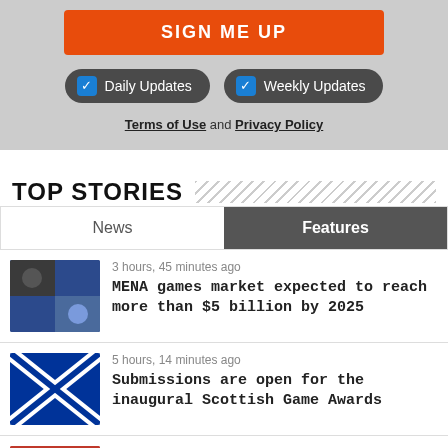SIGN ME UP
✓ Daily Updates
✓ Weekly Updates
Terms of Use and Privacy Policy
TOP STORIES
News | Features
3 hours, 45 minutes ago
MENA games market expected to reach more than $5 billion by 2025
5 hours, 14 minutes ago
Submissions are open for the inaugural Scottish Game Awards
5 hours, 46 minutes ago
Rogue Games announces a new and permanent four-day work week for all employees